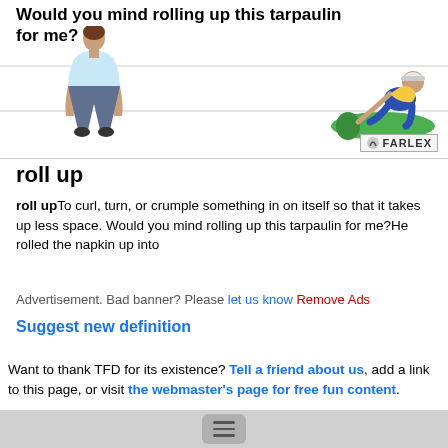[Figure (illustration): Dictionary illustration showing a person standing (seen from behind) and another person rolling up a green tarpaulin, with bold text: 'Would you mind rolling up this tarpaulin for me?' and FARLEX logo in corner]
roll up
roll upTo curl, turn, or crumple something in on itself so that it takes up less space. Would you mind rolling up this tarpaulin for me?He rolled the napkin up into
Advertisement. Bad banner? Please let us know Remove Ads
Suggest new definition
Want to thank TFD for its existence? Tell a friend about us, add a link to this page, or visit the webmaster's page for free fun content.